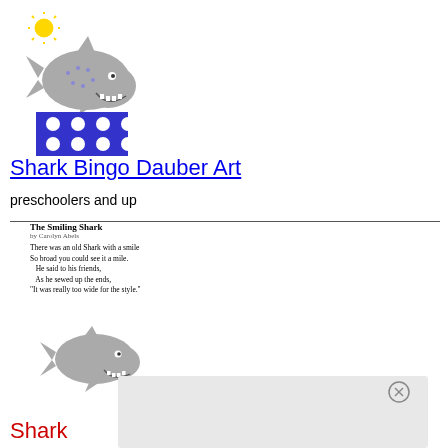[Figure (illustration): Cartoon shark with teeth biting a dotted blue gift box, with a yellow sun in top-left corner]
Shark Bingo Dauber Art
preschoolers and up
[Figure (illustration): A small page showing a poem titled 'The Smiling Shark' by Carolyn Abels with a gray cartoon shark illustration below the text]
Shark
[Figure (illustration): Close button (X in circle) for a modal/overlay dialog]